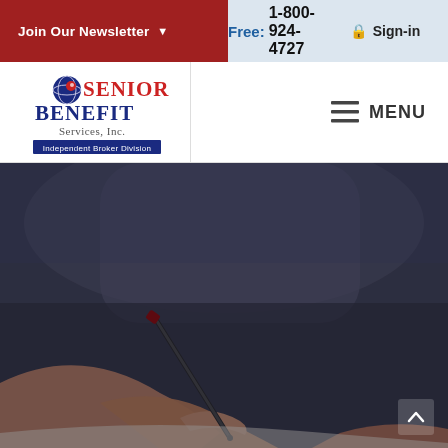Join Our Newsletter | Free: 1-800-924-4727 | Sign-in
[Figure (logo): Senior Benefit Services, Inc. logo — red and blue stylized text with globe graphic, Independent Broker Division tagline on blue banner]
MENU
[Figure (photo): Close-up photo of a person's hands signing a document with a pen, dark moody overlay, blurred background showing person in dark clothing]